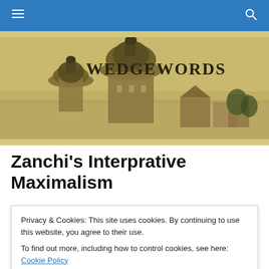Navigation bar with hamburger menu and search icon
[Figure (photo): Sepia-toned photograph of a European cityscape with prominent church domes and rooftops, with the text 'WEDGEWORDS' overlaid on the right side]
Zanchi's Interprative Maximalism
Privacy & Cookies: This site uses cookies. By continuing to use this website, you agree to their use.
To find out more, including how to control cookies, see here: Cookie Policy
Close and accept
Marriage Between Christ and the Church.